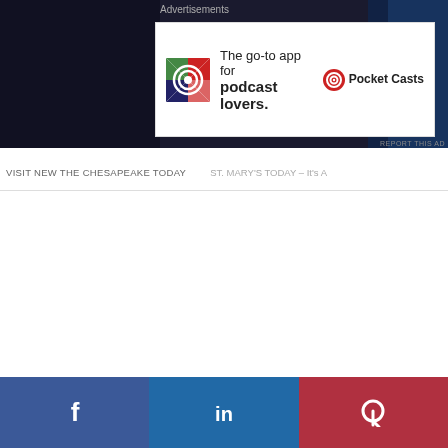[Figure (screenshot): Dark background header area with partial vehicle/technology imagery]
Advertisements
[Figure (screenshot): Pocket Casts advertisement banner: 'The go-to app for podcast lovers.' with Pocket Casts logo]
REPORT THIS AD
VISIT NEW THE CHESAPEAKE TODAY   ST. MARY'S TODAY – It's A
[Figure (infographic): Social media share footer bar with Facebook, LinkedIn, and Parler icons on blue and red backgrounds]